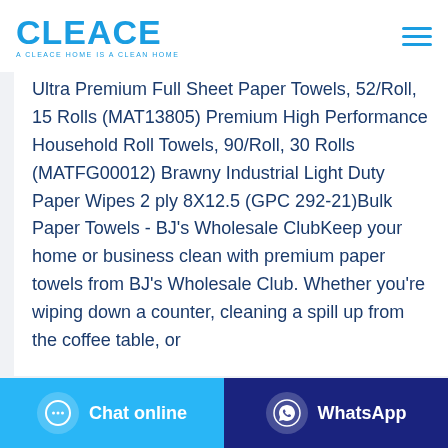CLEACE — A CLEACE HOME IS A CLEAN HOME
Ultra Premium Full Sheet Paper Towels, 52/Roll, 15 Rolls (MAT13805) Premium High Performance Household Roll Towels, 90/Roll, 30 Rolls (MATFG00012) Brawny Industrial Light Duty Paper Wipes 2 ply 8X12.5 (GPC 292-21)Bulk Paper Towels - BJ's Wholesale ClubKeep your home or business clean with premium paper towels from BJ's Wholesale Club. Whether you're wiping down a counter, cleaning a spill up from the coffee table, or
Chat online | WhatsApp